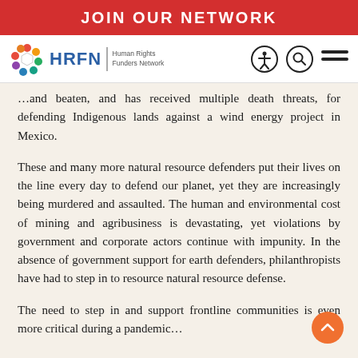JOIN OUR NETWORK
[Figure (logo): HRFN Human Rights Funders Network logo with colorful hexagon icon, navigation icons for accessibility, search, and menu]
…and beaten, and has received multiple death threats, for defending Indigenous lands against a wind energy project in Mexico.
These and many more natural resource defenders put their lives on the line every day to defend our planet, yet they are increasingly being murdered and assaulted. The human and environmental cost of mining and agribusiness is devastating, yet violations by government and corporate actors continue with impunity. In the absence of government support for earth defenders, philanthropists have had to step in to resource natural resource defense.
The need to step in and support frontline communities is even more critical during a pandemic…